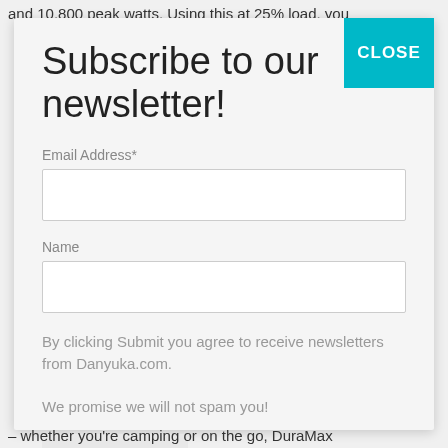and 10,800 peak watts. Using this at 25% load, you
Subscribe to our newsletter!
Email Address*
Name
By clicking Submit you agree to receive newsletters from Danyuka.com.
We promise we will not spam you!
Subscribe
whether you're camping or on the go, DuraMax